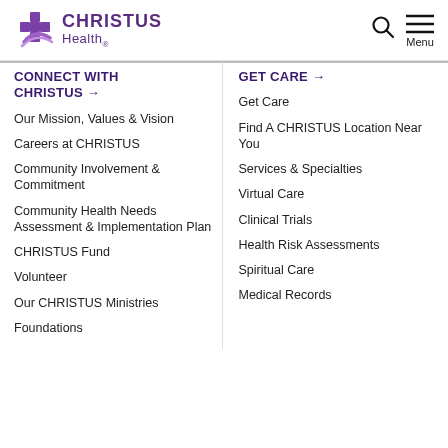CHRISTUS Health
CONNECT WITH CHRISTUS →
GET CARE →
Our Mission, Values & Vision
Get Care
Careers at CHRISTUS
Find A CHRISTUS Location Near You
Community Involvement & Commitment
Services & Specialties
Community Health Needs Assessment & Implementation Plan
Virtual Care
CHRISTUS Fund
Clinical Trials
Volunteer
Health Risk Assessments
Our CHRISTUS Ministries
Spiritual Care
Foundations
Medical Records